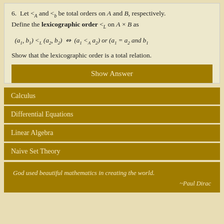6. Let <_A and <_b be total orders on A and B, respectively. Define the lexicographic order <_L on A × B as
Show that the lexicographic order is a total relation.
Show Answer
Calculus
Differential Equations
Linear Algebra
Naive Set Theory
God used beautiful mathematics in creating the world. ~Paul Dirac